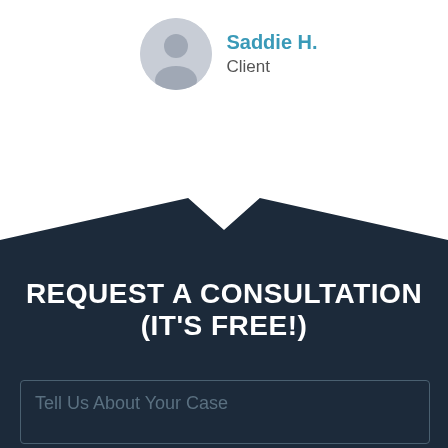[Figure (illustration): Avatar circle icon with a person silhouette in gray, next to the name Saddie H. labeled as Client]
Saddie H.
Client
REQUEST A CONSULTATION (IT'S FREE!)
Tell Us About Your Case